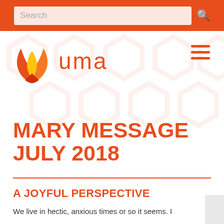Search
[Figure (logo): UMA flame logo with orange and yellow flame shape, alongside 'uma' text in orange]
MARY MESSAGE JULY 2018
A JOYFUL PERSPECTIVE
We live in hectic, anxious times or so it seems.